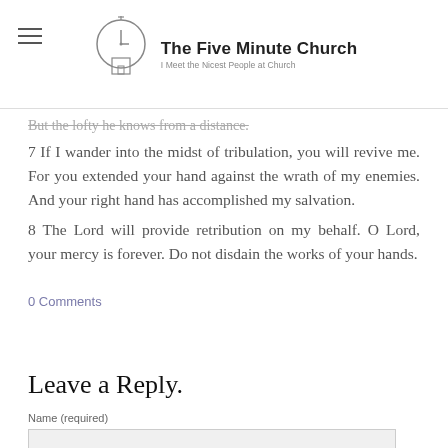The Five Minute Church — I Meet the Nicest People at Church
But the lofty he knows from a distance.
7 If I wander into the midst of tribulation, you will revive me. For you extended your hand against the wrath of my enemies. And your right hand has accomplished my salvation.
8 The Lord will provide retribution on my behalf. O Lord, your mercy is forever. Do not disdain the works of your hands.
0 Comments
Leave a Reply.
Name (required)